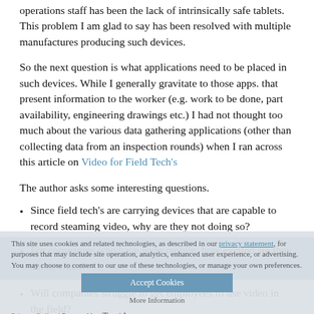operations staff has been the lack of intrinsically safe tablets. This problem I am glad to say has been resolved with multiple manufactures producing such devices.
So the next question is what applications need to be placed in such devices. While I generally gravitate to those apps. that present information to the worker (e.g. work to be done, part availability, engineering drawings etc.) I had not thought too much about the various data gathering applications (other than collecting data from an inspection rounds) when I ran across this article on Video for Field Tech's
The author asks some interesting questions.
Since field tech's are carrying devices that are capable to record steaming video, why are they not doing so?
For companies who have gone mobile, how excited are they about video?
Will companies struggle to get employees to use video in the field?
While this seems to be the next evolution for the mobile worker
This site uses cookies and related technologies, as described in our privacy statement, for purposes that may include site operation, analytics, enhanced user experience, or advertising. You may choose to consent to our use of these technologies, or manage your own preferences.
Accept Cookies
More Information
Privacy Policy | Powered by: TrustArc